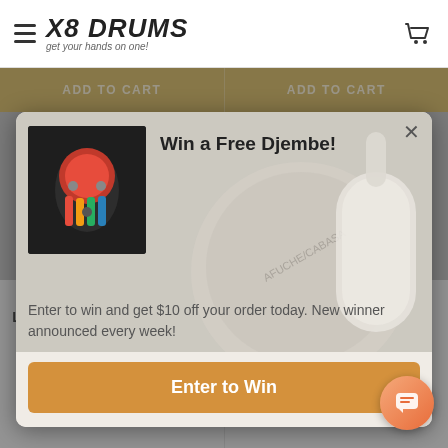X8 DRUMS — get your hands on one!
Win a Free Djembe!
Enter to win and get $10 off your order today. New winner announced every week!
Enter to Win
Latin Percussion
LP Afuche Cabasa Mini, Black Plastic
$46.99
$36.61
Latin Percussion
LP Afuche/Cabasa Deluxe (LP234C)
$92.99
$73.24